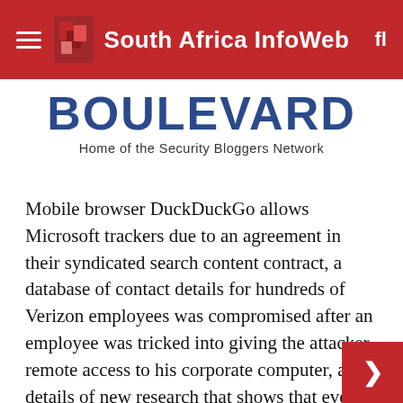South Africa InfoWeb
BOULEVARD
Home of the Security Bloggers Network
Mobile browser DuckDuckGo allows Microsoft trackers due to an agreement in their syndicated search content contract, a database of contact details for hundreds of Verizon employees was compromised after an employee was tricked into giving the attacker remote access to his corporate computer, and details of new research that shows that even when an iPhone running iOS 15 is turned off, it really isn't turned off, and certain wireless features allow the phone to be located and possibly attacked.